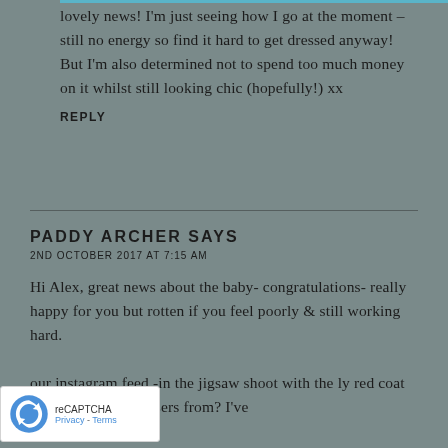lovely news! I'm just seeing how I go at the moment – still no energy so find it hard to get dressed anyway! But I'm also determined not to spend too much money on it whilst still looking chic (hopefully!) xx
REPLY
PADDY ARCHER SAYS
2ND OCTOBER 2017 AT 7:15 AM
Hi Alex, great news about the baby- congratulations- really happy for you but rotten if you feel poorly & still working hard.
our instagram feed -in the jigsaw shoot with the ly red coat where are your trousers from? I've